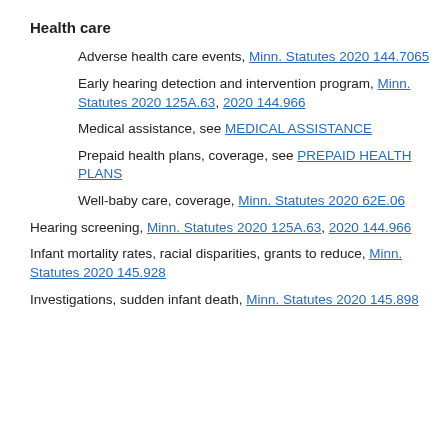Health care
Adverse health care events, Minn. Statutes 2020 144.7065
Early hearing detection and intervention program, Minn. Statutes 2020 125A.63, 2020 144.966
Medical assistance, see MEDICAL ASSISTANCE
Prepaid health plans, coverage, see PREPAID HEALTH PLANS
Well-baby care, coverage, Minn. Statutes 2020 62E.06
Hearing screening, Minn. Statutes 2020 125A.63, 2020 144.966
Infant mortality rates, racial disparities, grants to reduce, Minn. Statutes 2020 145.928
Investigations, sudden infant death, Minn. Statutes 2020 145.898